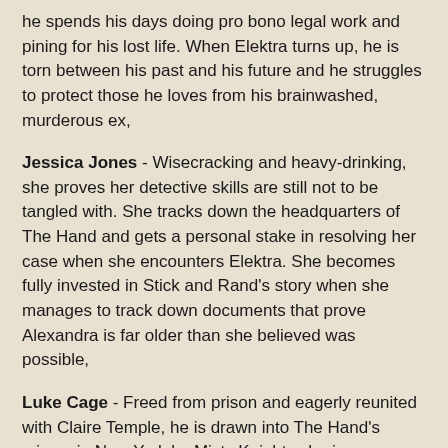he spends his days doing pro bono legal work and pining for his lost life. When Elektra turns up, he is torn between his past and his future and he struggles to protect those he loves from his brainwashed, murderous ex,
Jessica Jones - Wisecracking and heavy-drinking, she proves her detective skills are still not to be tangled with. She tracks down the headquarters of The Hand and gets a personal stake in resolving her case when she encounters Elektra. She becomes fully invested in Stick and Rand's story when she manages to track down documents that prove Alexandra is far older than she believed was possible,
Luke Cage - Freed from prison and eagerly reunited with Claire Temple, he is drawn into The Hand's crimes in New York by Misty Knight, who is investigating the missing Harlem youth. He is eager to avoid situations that might put him back in prison and is uncomfortable with the supernatural elements of The Hand. He wants to avoid any possible loss of innocent lives in the group's attempts to thwart The Hand,